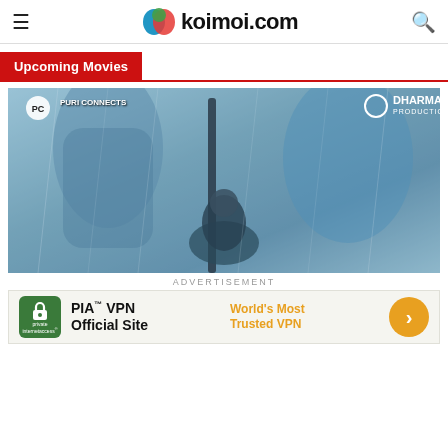koimoi.com
Upcoming Movies
[Figure (photo): Movie promotional image showing a person in rain with spear, Puri Connects and Dharma Productions logos visible]
ADVERTISEMENT
[Figure (infographic): PIA VPN advertisement banner: PIA TM VPN Official Site - World's Most Trusted VPN with green lock icon and orange arrow button]